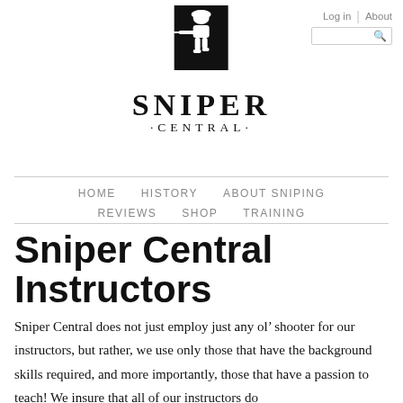[Figure (logo): Sniper Central logo: black silhouette of a soldier with rifle on a black square background, above the text SNIPER CENTRAL]
Log in | About
HOME  HISTORY  ABOUT SNIPING  REVIEWS  SHOP  TRAINING
Sniper Central Instructors
Sniper Central does not just employ just any ol' shooter for our instructors, but rather, we use only those that have the background skills required, and more importantly, those that have a passion to teach! We insure that all of our instructors do